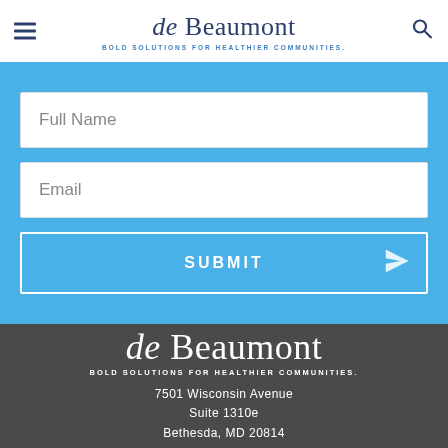de Beaumont — BOLD SOLUTIONS FOR HEALTHIER COMMUNITIES.
[Figure (screenshot): Web form with Full Name and Email input fields and a SUBMIT button on a blue background]
de Beaumont — BOLD SOLUTIONS FOR HEALTHIER COMMUNITIES. 7501 Wisconsin Avenue Suite 1310e Bethesda, MD 20814